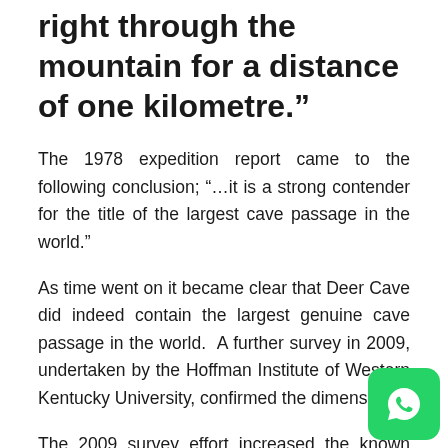right through the mountain for a distance of one kilometre."
The 1978 expedition report came to the following conclusion; “…it is a strong contender for the title of the largest cave passage in the world.”
As time went on it became clear that Deer Cave did indeed contain the largest genuine cave passage in the world.  A further survey in 2009, undertaken by the Hoffman Institute of Western Kentucky University, confirmed the dimensions.
The 2009 survey effort increased the known passage length to 4.1 kilometres and connected Langs Cave, another show cave within the park, to the Deer Cave System. The